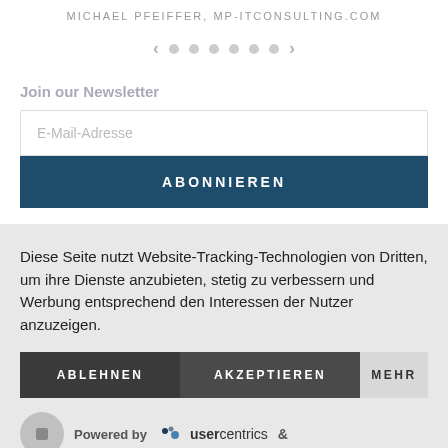MICHAEL PFEIFFER, MP-ITCONSULTING.COM
[Figure (other): Carousel navigation with left arrow, 6 dots, and right arrow]
Join our Newsletter
[Figure (screenshot): Email input field with placeholder 'E-Mail-Adresse' and ABONNIEREN button]
Diese Seite nutzt Website-Tracking-Technologien von Dritten, um ihre Dienste anzubieten, stetig zu verbessern und Werbung entsprechend den Interessen der Nutzer anzuzeigen.
[Figure (screenshot): Three buttons: ABLEHNEN (dark), AKZEPTIEREN (dark), MEHR (light)]
Powered by usercentrics &